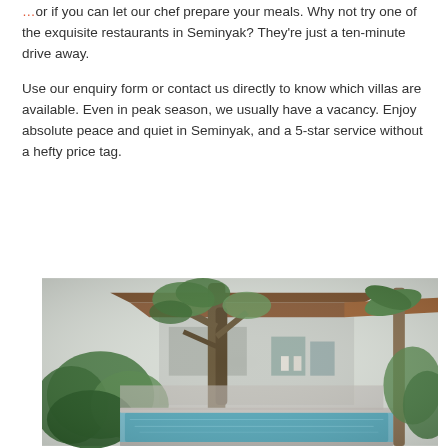or if you can let our chef prepare your meals. Why not try one of the exquisite restaurants in Seminyak? They're just a ten-minute drive away.
Use our enquiry form or contact us directly to know which villas are available. Even in peak season, we usually have a vacancy. Enjoy absolute peace and quiet in Seminyak, and a 5-star service without a hefty price tag.
[Figure (photo): Outdoor villa scene showing a swimming pool in the foreground with tropical trees and lush greenery in the middle ground, and a modern Balinese villa building with a tiled roof in the background.]